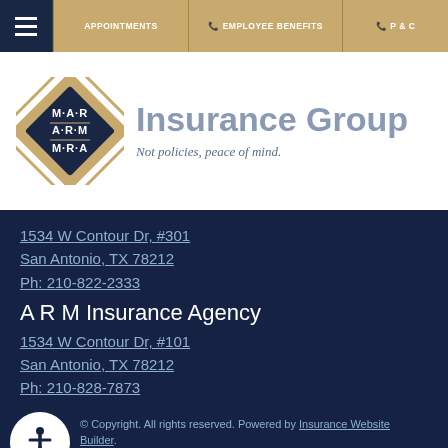APPOINTMENTS  EMPLOYEE BENEFITS  P & C
[Figure (logo): M·A·R / A·R·M diamond logo with navy and gold colors, next to 'Insurance Group - Not policies, peace of mind.']
1534 W Contour Dr, #301
San Antonio, TX 78212
Ph: 210-822-2333
A R M Insurance Agency
1534 W Contour Dr, #101
San Antonio, TX 78212
Ph: 210-828-7873
© Copyright. All rights reserved. Powered by Insurance Website Builder.